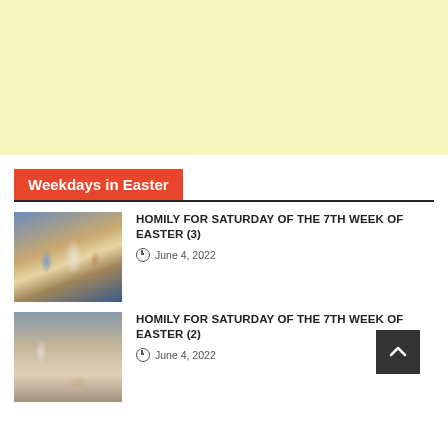[Figure (other): Light yellow advertisement banner placeholder at top of page]
Weekdays in Easter
HOMILY FOR SATURDAY OF THE 7TH WEEK OF EASTER (3)
June 4, 2022
HOMILY FOR SATURDAY OF THE 7TH WEEK OF EASTER (2)
June 4, 2022